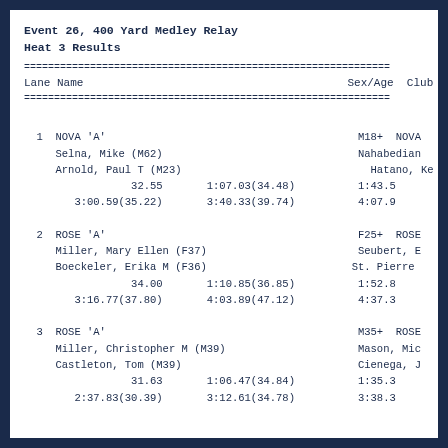Event 26, 400 Yard Medley Relay
Heat 3 Results
| Lane | Name | Sex/Age | Club |
| --- | --- | --- | --- |
| 1 | NOVA 'A' | M18+ | NOVA |
|  | Selna, Mike (M62) |  | Nahabedian |
|  | Arnold, Paul T (M23) |  | Hatano, Ke |
|  | 32.55    1:07.03(34.48)    1:43.5 |  |  |
|  | 3:00.59(35.22)    3:40.33(39.74)    4:07.9 |  |  |
| 2 | ROSE 'A' | F25+ | ROSE |
|  | Miller, Mary Ellen (F37) |  | Seubert, E |
|  | Boeckeler, Erika M (F36) |  | St. Pierre |
|  | 34.00    1:10.85(36.85)    1:52.8 |  |  |
|  | 3:16.77(37.80)    4:03.89(47.12)    4:37.3 |  |  |
| 3 | ROSE 'A' | M35+ | ROSE |
|  | Miller, Christopher M (M39) |  | Mason, Mic |
|  | Castleton, Tom (M39) |  | Cienega, J |
|  | 31.63    1:06.47(34.84)    1:35.3 |  |  |
|  | 2:37.83(30.39)    3:12.61(34.78)    3:38.3 |  |  |